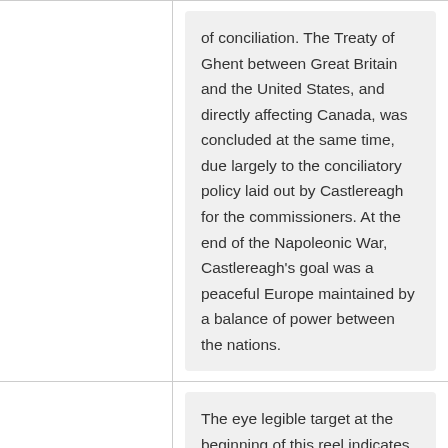of conciliation. The Treaty of Ghent between Great Britain and the United States, and directly affecting Canada, was concluded at the same time, due largely to the conciliatory policy laid out by Castlereagh for the commissioners. At the end of the Napoleonic War, Castlereagh's goal was a peaceful Europe maintained by a balance of power between the nations.
Contents:
The eye legible target at the beginning of this reel indicates that it contains letters relating to Nova Scotia from 1791-1813. For some reason which is not apparent, only two letters from Viscount Castlereagh were